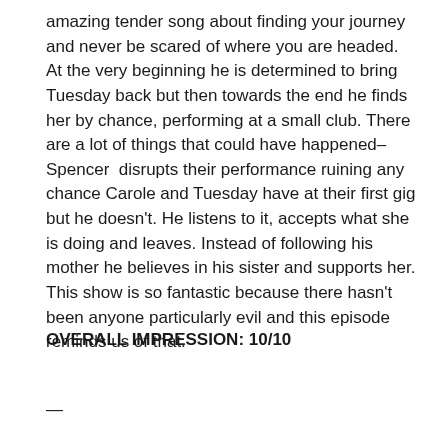amazing tender song about finding your journey and never be scared of where you are headed. At the very beginning he is determined to bring Tuesday back but then towards the end he finds her by chance, performing at a small club. There are a lot of things that could have happened– Spencer  disrupts their performance ruining any chance Carole and Tuesday have at their first gig but he doesn't. He listens to it, accepts what she is doing and leaves. Instead of following his mother he believes in his sister and supports her. This show is so fantastic because there hasn't been anyone particularly evil and this episode reminds us of that.
OVERALL IMPRESSION: 10/10
—